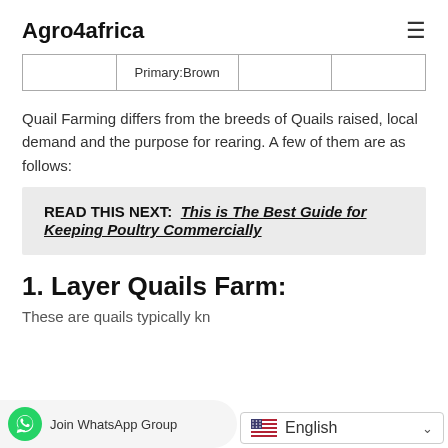Agro4africa
|  | Primary:Brown |  |  |
Quail Farming differs from the breeds of Quails raised, local demand and the purpose for rearing. A few of them are as follows:
READ THIS NEXT:  This is The Best Guide for Keeping Poultry Commercially
1. Layer Quails Farm:
These are quails typically kn